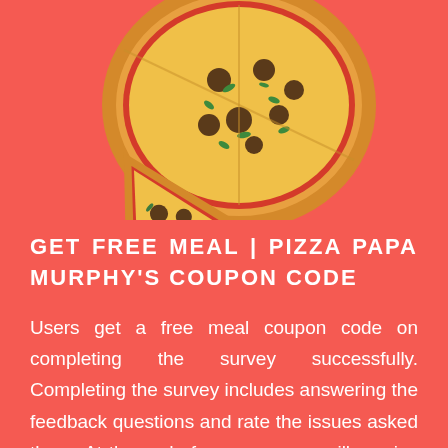[Figure (photo): A pizza with a slice separated, showing toppings including mushrooms, peppers, and herbs, on a red coral background]
GET FREE MEAL | PIZZA PAPA MURPHY'S COUPON CODE
Users get a free meal coupon code on completing the survey successfully. Completing the survey includes answering the feedback questions and rate the issues asked there. At the end of a survey, you will receive a unique code which is used to redeem for a free meal at the restaurants.